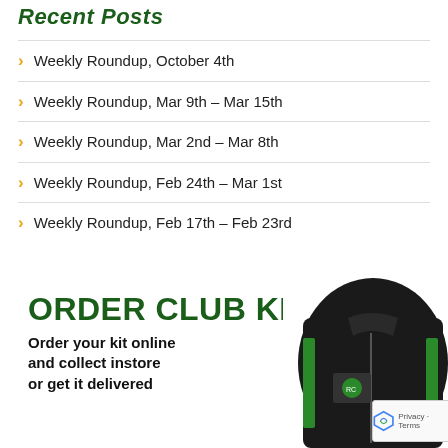Recent Posts
Weekly Roundup, October 4th
Weekly Roundup, Mar 9th – Mar 15th
Weekly Roundup, Mar 2nd – Mar 8th
Weekly Roundup, Feb 24th – Mar 1st
Weekly Roundup, Feb 17th – Feb 23rd
ORDER CLUB KIT
Order your kit online and collect instore or get it delivered
[Figure (photo): Black and green running club jacket with club logo]